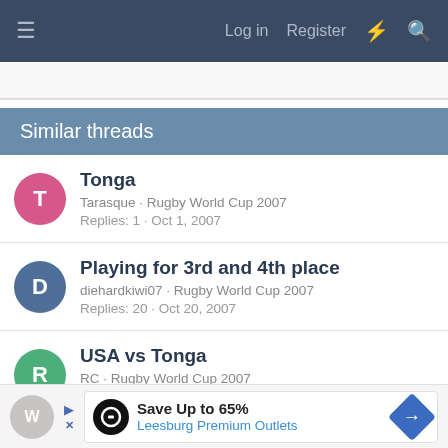≡  Log in  Register  ⚡  🔍
Similar threads
Tonga
Tarasque · Rugby World Cup 2007
Replies: 1 · Oct 1, 2007
Playing for 3rd and 4th place
diehardkiwi07 · Rugby World Cup 2007
Replies: 20 · Oct 20, 2007
USA vs Tonga
RC · Rugby World Cup 2007
Replies: 17 · Sep 15, 2007
Save Up to 65%
Leesburg Premium Outlets